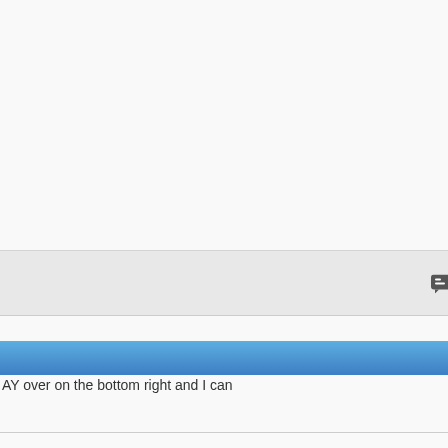Reply With Quote
#13
AY over on the bottom right and I can